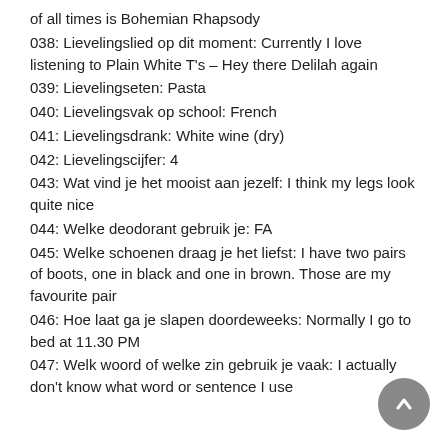of all times is Bohemian Rhapsody
038: Lievelingslied op dit moment: Currently I love listening to Plain White T's – Hey there Delilah again
039: Lievelingseten: Pasta
040: Lievelingsvak op school: French
041: Lievelingsdrank: White wine (dry)
042: Lievelingscijfer: 4
043: Wat vind je het mooist aan jezelf: I think my legs look quite nice
044: Welke deodorant gebruik je: FA
045: Welke schoenen draag je het liefst: I have two pairs of boots, one in black and one in brown. Those are my favourite pair
046: Hoe laat ga je slapen doordeweeks: Normally I go to bed at 11.30 PM
047: Welk woord of welke zin gebruik je vaak: I actually don't know what word or sentence I use